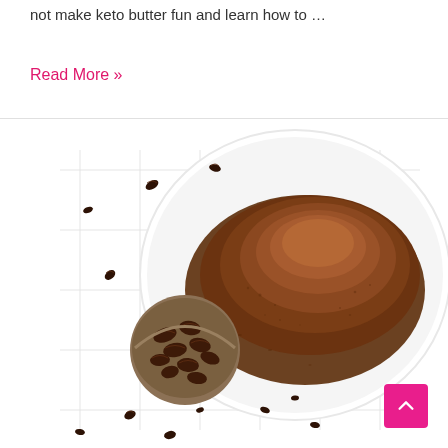not make keto butter fun and learn how to …
Read More »
[Figure (photo): Overhead view of ground coffee powder in a white plate and whole coffee beans in a small measuring cup, scattered on a white gridded cloth background.]